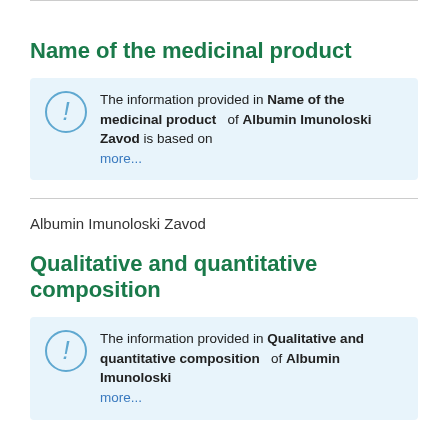Name of the medicinal product
The information provided in Name of the medicinal product of Albumin Imunoloski Zavod is based on more...
Albumin Imunoloski Zavod
Qualitative and quantitative composition
The information provided in Qualitative and quantitative composition of Albumin Imunoloski more...